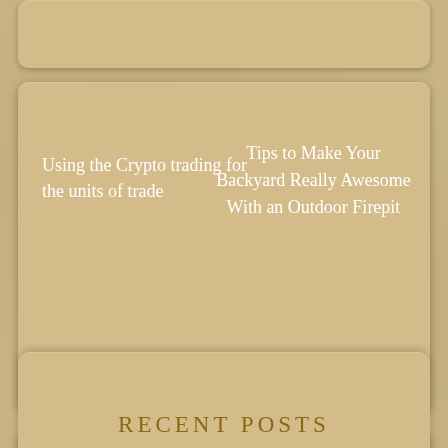[Figure (screenshot): Top card partially visible at the top of the page, tan/beige background card]
Using the Crypto trading for the units of trade
Tips to Make Your Backyard Really Awesome With an Outdoor Firepit
[Figure (screenshot): Search widget card with a rounded search input bar and a red Search button]
Search ...
Search
RECENT POSTS